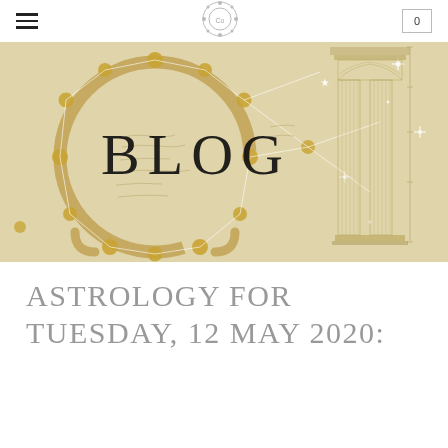≡  [Co logo]  0
[Figure (illustration): Hero banner image showing a beige/antique parchment background with a classical architectural circular floor plan drawing (horseshoe arch with gold dots arranged in a circle), constellation line overlay with sparkle stars, and a classical column drawing on the right side. The word BLOG is overlaid in large light-weight uppercase letters in the center.]
ASTROLOGY FOR TUESDAY, 12 MAY 2020: